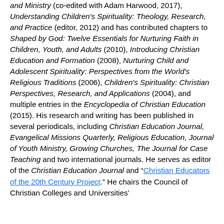and Ministry (co-edited with Adam Harwood, 2017), Understanding Children's Spirituality: Theology, Research, and Practice (editor, 2012) and has contributed chapters to Shaped by God: Twelve Essentials for Nurturing Faith in Children, Youth, and Adults (2010), Introducing Christian Education and Formation (2008), Nurturing Child and Adolescent Spirituality: Perspectives from the World's Religious Traditions (2006), Children's Spirituality: Christian Perspectives, Research, and Applications (2004), and multiple entries in the Encyclopedia of Christian Education (2015). His research and writing has been published in several periodicals, including Christian Education Journal, Evangelical Missions Quarterly, Religious Education, Journal of Youth Ministry, Growing Churches, The Journal for Case Teaching and two international journals. He serves as editor of the Christian Education Journal and "Christian Educators of the 20th Century Project." He chairs the Council of Christian Colleges and Universities'